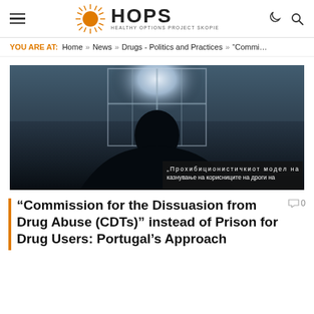HOPS — HEALTHY OPTIONS PROJECT SKOPIE
YOU ARE AT: Home » News » Drugs - Politics and Practices » "Commi...
[Figure (photo): Silhouette of a person standing in front of a barred window, backlit with bright white light. Appears to be in a prison or detention setting. Dark, moody atmosphere. A Macedonian-language caption overlay is partially visible in the lower right reading: '„Прохибиционистичкиот модел на казнување на корисниците на дроги на...']
“Commission for the Dissuasion from Drug Abuse (CDTs)” instead of Prison for Drug Users: Portugal’s Approach